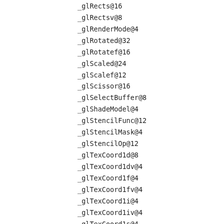_glRects@16
_glRectsv@8
_glRenderMode@4
_glRotated@32
_glRotatef@16
_glScaled@24
_glScalef@12
_glScissor@16
_glSelectBuffer@8
_glShadeModel@4
_glStencilFunc@12
_glStencilMask@4
_glStencilOp@12
_glTexCoord1d@8
_glTexCoord1dv@4
_glTexCoord1f@4
_glTexCoord1fv@4
_glTexCoord1i@4
_glTexCoord1iv@4
_glTexCoord1s@4
_glTexCoord1sv@4
_glTexCoord2d@16
_glTexCoord2dv@4
_glTexCoord2f@8
_glTexCoord2fv@4
_glTexCoord2i@8
_glTexCoord2iv@4